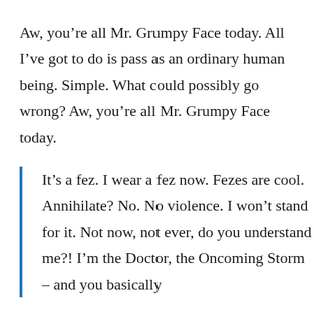Aw, you're all Mr. Grumpy Face today. All I've got to do is pass as an ordinary human being. Simple. What could possibly go wrong? Aw, you're all Mr. Grumpy Face today.
It's a fez. I wear a fez now. Fezes are cool. Annihilate? No. No violence. I won't stand for it. Not now, not ever, do you understand me?! I'm the Doctor, the Oncoming Storm – and you basically